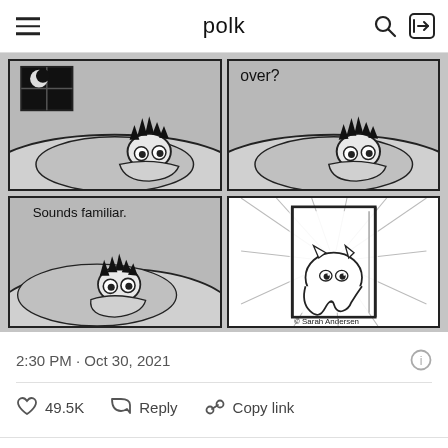polk
[Figure (illustration): A four-panel webcomic by Sarah Andersen. Top-left panel: a person lying in bed under covers with a nighttime window showing a moon. Top-right panel: text 'over?' with the person still in bed looking anxious. Bottom-left panel: text 'Sounds familiar.' with the person looking surprised in bed. Bottom-right panel: a cat dressed as a ghost bursting through a door dramatically. Copyright Sarah Andersen.]
2:30 PM · Oct 30, 2021
49.5K  Reply  Copy link
Read 21 replies